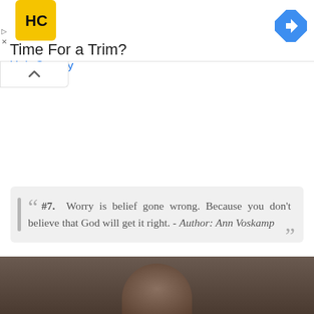[Figure (screenshot): Hair Cuttery advertisement banner with yellow HC logo, text 'Time For a Trim?' and 'Hair Cuttery' in blue, with a blue navigation diamond icon on the right.]
" #7. Worry is belief gone wrong. Because you don't believe that God will get it right. - Author: Ann Voskamp "
[Figure (photo): Dark photograph showing the top of a person's head, partially visible at the bottom of the page.]